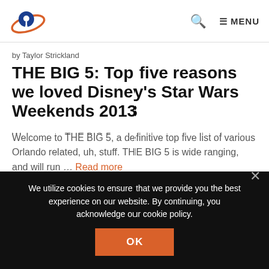Logo | Search | MENU
by Taylor Strickland
THE BIG 5: Top five reasons we loved Disney's Star Wars Weekends 2013
Welcome to THE BIG 5, a definitive top five list of various Orlando related, uh, stuff. THE BIG 5 is wide ranging, and will run ... Read more
We utilize cookies to ensure that we provide you the best experience on our website. By continuing, you acknowledge our cookie policy.